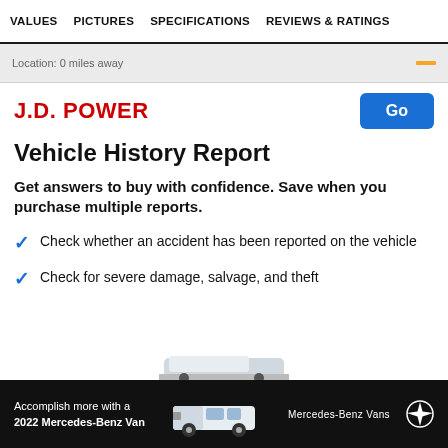VALUES  PICTURES  SPECIFICATIONS  REVIEWS & RATINGS
Location: 0 miles away
J.D. POWER
Vehicle History Report
Get answers to buy with confidence. Save when you purchase multiple reports.
Check whether an accident has been reported on the vehicle
Check for severe damage, salvage, and theft
[Figure (illustration): Advertisement banner: Accomplish more with a 2022 Mercedes-Benz Van, showing a white van and Mercedes-Benz logo]